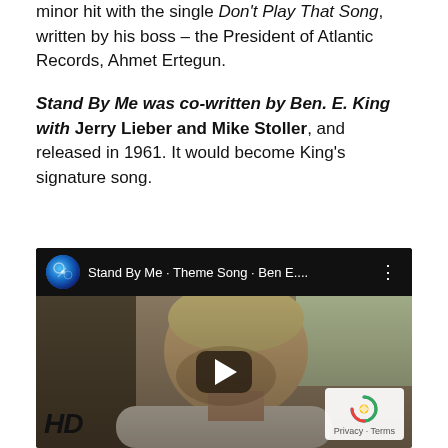minor hit with the single Don't Play That Song, written by his boss – the President of Atlantic Records, Ahmet Ertegun.
Stand By Me was co-written by Ben. E. King with Jerry Lieber and Mike Stoller, and released in 1961. It would become King's signature song.
[Figure (screenshot): YouTube video thumbnail for 'Stand By Me · Theme Song · Ben E....' showing a young person looking down, with an HD badge in the bottom left and a reCAPTCHA privacy box in the bottom right.]